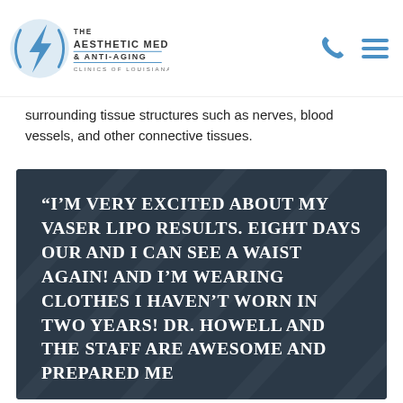The Aesthetic Medicine & Anti-Aging Clinics of Louisiana
surrounding tissue structures such as nerves, blood vessels, and other connective tissues.
[Figure (other): Dark blue-grey testimonial banner with diagonal subtle line texture pattern in background]
“I’m very excited about my VASER Lipo results. Eight days our and I can see a waist again! And I’m wearing clothes I haven’t worn in two years! Dr. Howell and the staff are awesome and prepared me